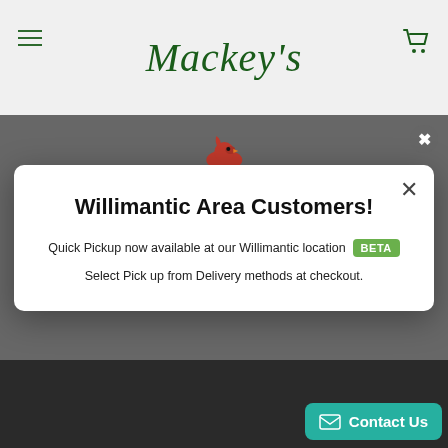[Figure (screenshot): Website header with hamburger menu, Mackey's italic logo in green serif font, and shopping cart icon]
[Figure (logo): Large green M letter with red cardinal bird on top, Mackey's brand logo]
Willimantic Area Customers!
Quick Pickup now available at our Willimantic location BETA
Select Pick up from Delivery methods at checkout.
[Figure (screenshot): Join Here! button in dark green with italic gray text]
[Figure (screenshot): Contact Us teal button in bottom right corner with envelope icon]